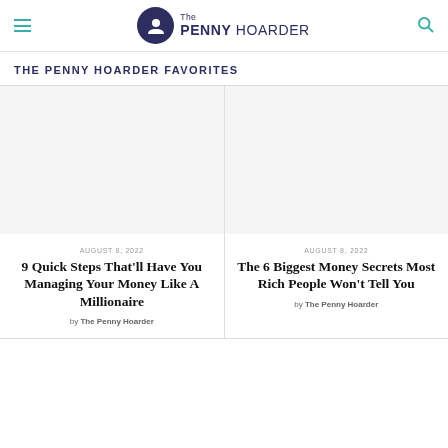The PENNY HOARDER
THE PENNY HOARDER FAVORITES
AUGUST 8, 2022
9 Quick Steps That'll Have You Managing Your Money Like A Millionaire
by The Penny Hoarder
AUGUST 8, 2022
The 6 Biggest Money Secrets Most Rich People Won't Tell You
by The Penny Hoarder